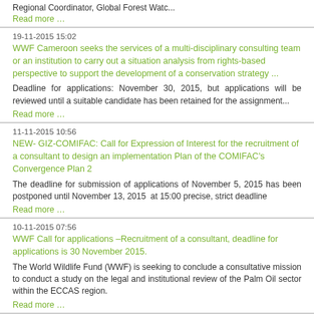Regional Coordinator, Global Forest Watc...
Read more …
19-11-2015 15:02
WWF Cameroon seeks the services of a multi-disciplinary consulting team or an institution to carry out a situation analysis from rights-based perspective to support the development of a conservation strategy ...
Deadline for applications: November 30, 2015, but applications will be reviewed until a suitable candidate has been retained for the assignment...
Read more …
11-11-2015 10:56
NEW- GIZ-COMIFAC: Call for Expression of Interest for the recruitment of a consultant to design an implementation Plan of the COMIFAC's Convergence Plan 2
The deadline for submission of applications of November 5, 2015 has been postponed until November 13, 2015  at 15:00 precise, strict deadline
Read more …
10-11-2015 07:56
WWF Call for applications –Recruitment of a consultant, deadline for applications is 30 November 2015.
The World Wildlife Fund (WWF) is seeking to conclude a consultative mission to conduct a study on the legal and institutional review of the Palm Oil sector within the ECCAS region.
Read more …
09-11-2015 09:29
Call for applications- Environmental Governance Institute (EGI) positions